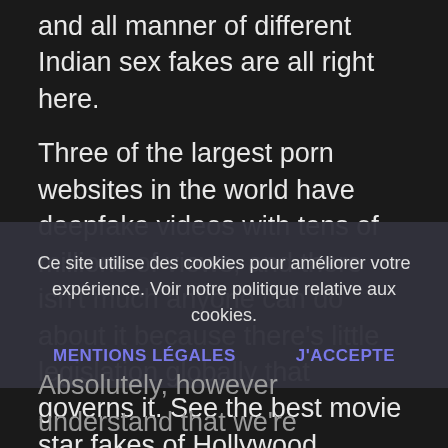and all manner of different Indian sex fakes are all right here.
Three of the largest porn websites in the world have deepfake videos with tens of millions of views, and there isn't much anyone can do about it because there's little legislation globally that governs it. See the best movie star fakes of Hollywood
Ce site utilise des cookies pour améliorer votre expérience. Voir notre politique relative aux cookies.
MENTIONS LÉGALES    J'accepte
Absolutely, however understand that we're